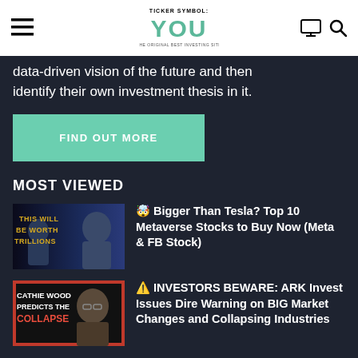Ticker Symbol: YOU
data-driven vision of the future and then identify their own investment thesis in it.
FIND OUT MORE
MOST VIEWED
[Figure (photo): Thumbnail showing two men with text 'THIS WILL BE WORTH TRILLIONS']
🤯 Bigger Than Tesla? Top 10 Metaverse Stocks to Buy Now (Meta & FB Stock)
[Figure (photo): Thumbnail showing Cathie Wood with text 'CATHIE WOOD PREDICTS THE COLLAPSE']
⚠️ INVESTORS BEWARE: ARK Invest Issues Dire Warning on BIG Market Changes and Collapsing Industries